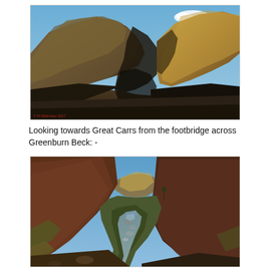[Figure (photo): Photograph of a large mountain cwm showing rocky ridgelines and hillsides under blue sky with a small cloud. Dark shadowed valley floor in foreground with golden/brown sunlit slopes on right. Watermark text bottom-left: © M.Walmsley 2017]
Looking towards Great Carrs from the footbridge across Greenburn Beck: -
[Figure (photo): Photograph of a valley looking uphill along Greenburn Beck. Stream with small rocky waterfalls visible in centre foreground. Steep hillsides rise on both left and right. Rocky crags visible at head of valley under blue sky. A lone tree visible in middle distance on right side.]